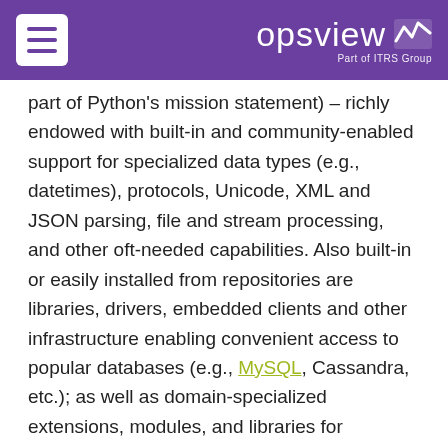opsview — Part of ITRS Group
part of Python's mission statement) – richly endowed with built-in and community-enabled support for specialized data types (e.g., datetimes), protocols, Unicode, XML and JSON parsing, file and stream processing, and other oft-needed capabilities. Also built-in or easily installed from repositories are libraries, drivers, embedded clients and other infrastructure enabling convenient access to popular databases (e.g., MySQL, Cassandra, etc.); as well as domain-specialized extensions, modules, and libraries for mathematics, graphics, and other tasks.
The "batteries included" design pattern for programming languages has since been adopted by